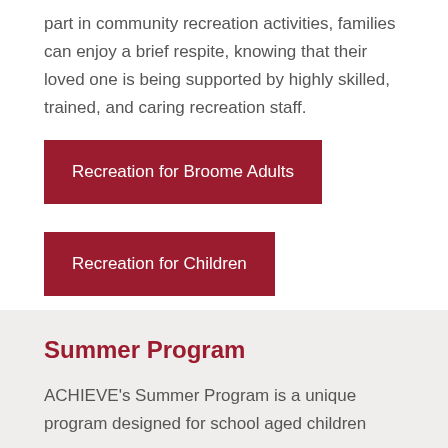part in community recreation activities, families can enjoy a brief respite, knowing that their loved one is being supported by highly skilled, trained, and caring recreation staff.
Recreation for Broome Adults
Recreation for Children
Summer Program
ACHIEVE's Summer Program is a unique program designed for school aged children